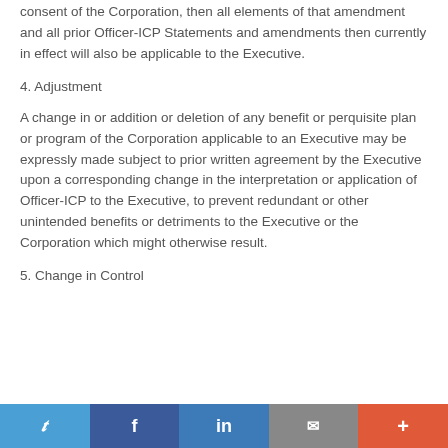consent of the Corporation, then all elements of that amendment and all prior Officer-ICP Statements and amendments then currently in effect will also be applicable to the Executive.
4. Adjustment
A change in or addition or deletion of any benefit or perquisite plan or program of the Corporation applicable to an Executive may be expressly made subject to prior written agreement by the Executive upon a corresponding change in the interpretation or application of Officer-ICP to the Executive, to prevent redundant or other unintended benefits or detriments to the Executive or the Corporation which might otherwise result.
5. Change in Control